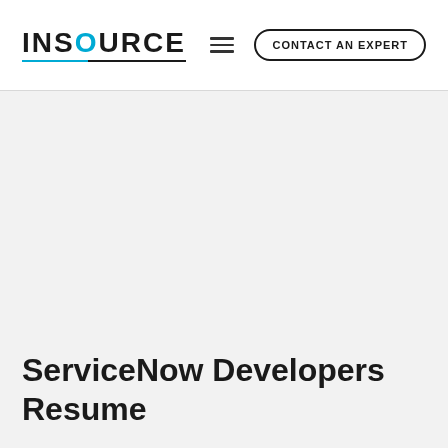INSOURCE | CONTACT AN EXPERT
ServiceNow Developers Resume